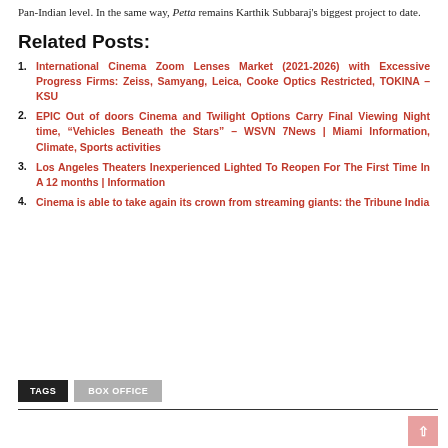Pan-Indian level. In the same way, Petta remains Karthik Subbaraj's biggest project to date.
Related Posts:
International Cinema Zoom Lenses Market (2021-2026) with Excessive Progress Firms: Zeiss, Samyang, Leica, Cooke Optics Restricted, TOKINA – KSU
EPIC Out of doors Cinema and Twilight Options Carry Final Viewing Night time, “Vehicles Beneath the Stars” – WSVN 7News | Miami Information, Climate, Sports activities
Los Angeles Theaters Inexperienced Lighted To Reopen For The First Time In A 12 months | Information
Cinema is able to take again its crown from streaming giants: the Tribune India
TAGS   BOX OFFICE